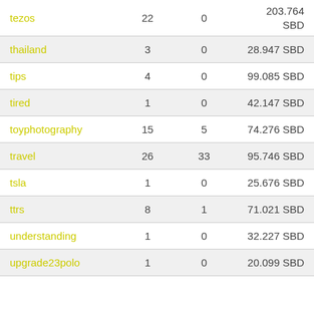| tag | posts | replies | amount |
| --- | --- | --- | --- |
| tezos | 22 | 0 | 203.764 SBD |
| thailand | 3 | 0 | 28.947 SBD |
| tips | 4 | 0 | 99.085 SBD |
| tired | 1 | 0 | 42.147 SBD |
| toyphotography | 15 | 5 | 74.276 SBD |
| travel | 26 | 33 | 95.746 SBD |
| tsla | 1 | 0 | 25.676 SBD |
| ttrs | 8 | 1 | 71.021 SBD |
| understanding | 1 | 0 | 32.227 SBD |
| upgrade23polo | 1 | 0 | 20.099 SBD |